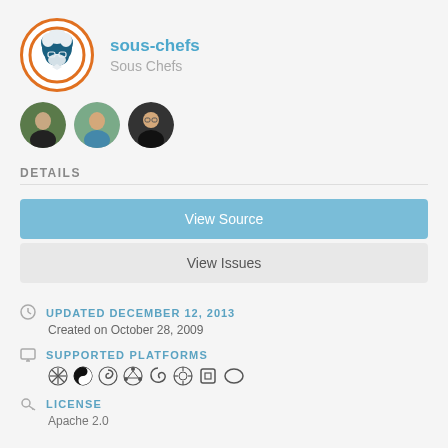[Figure (logo): Chef/cook logo in a circle with orange border]
sous-chefs
Sous Chefs
[Figure (photo): Three circular user avatar photos]
DETAILS
View Source
View Issues
UPDATED DECEMBER 12, 2013
Created on October 28, 2009
SUPPORTED PLATFORMS
[Figure (infographic): Row of platform icons: FreeBSD, Fedora, Debian, Ubuntu, Gentoo, Scientific Linux, Arch Linux, Amazon]
LICENSE
Apache 2.0